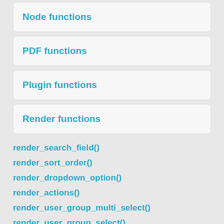Node functions
PDF functions
Plugin functions
Render functions
render_search_field()
render_sort_order()
render_dropdown_option()
render_actions()
render_user_group_multi_select()
render_user_group_select()